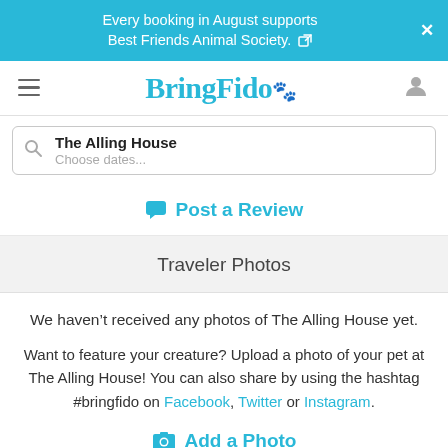Every booking in August supports Best Friends Animal Society.
[Figure (logo): BringFido logo with hamburger menu and user icon]
The Alling House
Choose dates...
Post a Review
Traveler Photos
We haven't received any photos of The Alling House yet.
Want to feature your creature? Upload a photo of your pet at The Alling House! You can also share by using the hashtag #bringfido on Facebook, Twitter or Instagram.
Add a Photo